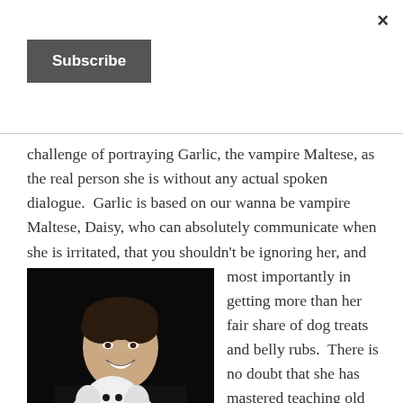×
Subscribe
challenge of portraying Garlic, the vampire Maltese, as the real person she is without any actual spoken dialogue.  Garlic is based on our wanna be vampire Maltese, Daisy, who can absolutely communicate when she is irritated, that you shouldn't be ignoring her, and most importantly in getting more than her fair share of dog treats and belly rubs.  There is no doubt that she has mastered teaching old humans some
[Figure (photo): A smiling man in a black shirt holding a small white fluffy dog (Maltese) against a dark background.]